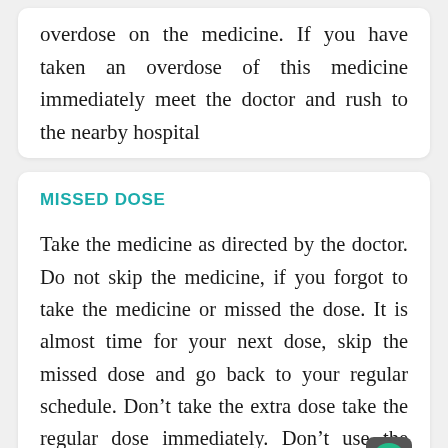overdose on the medicine. If you have taken an overdose of this medicine immediately meet the doctor and rush to the nearby hospital
MISSED DOSE
Take the medicine as directed by the doctor. Do not skip the medicine, if you forgot to take the medicine or missed the dose. It is almost time for your next dose, skip the missed dose and go back to your regular schedule. Don't take the extra dose take the regular dose immediately. Don't use the two-dose at one time (Double Dose).